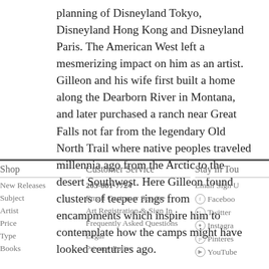planning of Disneyland Tokyo, Disneyland Hong Kong and Disneyland Paris. The American West left a mesmerizing impact on him as an artist. Gilleon and his wife first built a home along the Dearborn River in Montana, and later purchased a ranch near Great Falls not far from the legendary Old North Trail where native peoples traveled millennia ago from the Arctic to the desert Southwest. Here Gilleon found clusters of teepee rings from encampments which inspire him to contemplate how the camps might have looked centuries ago.
Shop | Customer Service | Stay in Touch
New Releases | 203-881-7724 | Email Sign Up
Subject | Email Customer Service | Facebook
Artist | Art Registration & Sign In | Twitter
Price | Frequently Asked Questions | Instagram
Type | Legal | Pinterest
Books | Privacy Policy | YouTube